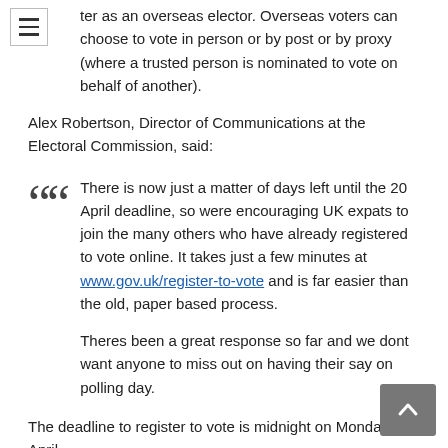Parliamentary constituency in the last fifteen years may be eligible to register as an overseas elector. Overseas voters can choose to vote in person or by post or by proxy (where a trusted person is nominated to vote on behalf of another).
Alex Robertson, Director of Communications at the Electoral Commission, said:
There is now just a matter of days left until the 20 April deadline, so were encouraging UK expats to join the many others who have already registered to vote online. It takes just a few minutes at www.gov.uk/register-to-vote and is far easier than the old, paper based process.

Theres been a great response so far and we dont want anyone to miss out on having their say on polling day.
The deadline to register to vote is midnight on Monday 20 April.
NOTES FOR EDITORS
The Electoral Commission is an independent body set up by the UK Parliament. Their aim is integrity and public confidence in the UKs democratic process. They regulate party and election finance and set